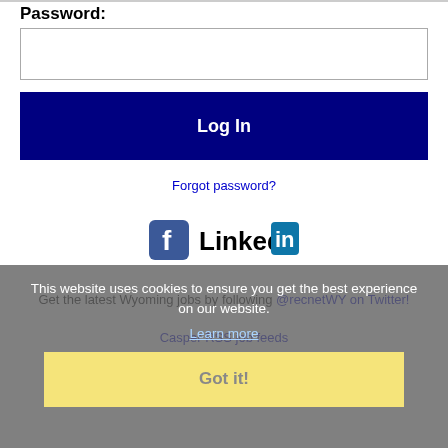Password:
[Figure (screenshot): Password input field (text box, empty)]
[Figure (screenshot): Log In button (dark blue/navy background, white text)]
Forgot password?
[Figure (logo): Facebook logo icon and LinkedIn logo side by side]
Get the latest Wyoming jobs by following @recnetWY on Twitter!
Casper RSS job feeds
This website uses cookies to ensure you get the best experience on our website.
Learn more
Got it!